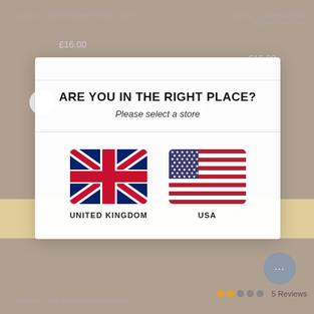LEPEL - FIORE SHORT STEEL GREY
LEPEL - FIORE SHORT IVORY/LIPSTICK
£16.00
£16.00
[Figure (logo): Corset Story logo with stylized X in the O of Story and TM mark]
ARE YOU IN THE RIGHT PLACE?
Please select a store
[Figure (illustration): UK Union Jack flag]
UNITED KINGDOM
[Figure (illustration): USA flag]
USA
Mix & Match Multiway Buy 4 For 1
Mix & Match Multiway Buy 4 For 1
LEPEL - ALEX FRENCH KNICKER
5 Reviews